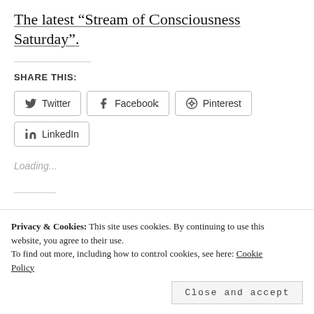The latest “Stream of Consciousness Saturday”.
SHARE THIS:
Loading...
Privacy & Cookies: This site uses cookies. By continuing to use this website, you agree to their use. To find out more, including how to control cookies, see here: Cookie Policy
Close and accept